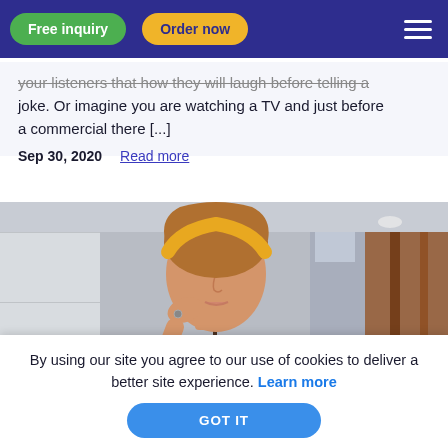Free inquiry | Order now
your listeners that how they will laugh before telling a joke. Or imagine you are watching a TV and just before a commercial there [...]
Sep 30, 2020   Read more
[Figure (photo): Young woman with yellow headband, eyes closed, resting her chin on her hand, wearing a blue striped shirt and choker necklace, sitting in a cafe-like interior]
By using our site you agree to our use of cookies to deliver a better site experience. Learn more
GOT IT